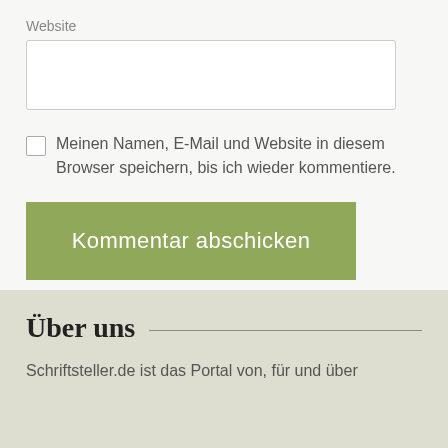Website
Meinen Namen, E-Mail und Website in diesem Browser speichern, bis ich wieder kommentiere.
Kommentar abschicken
Über uns
Schriftsteller.de ist das Portal von, für und über